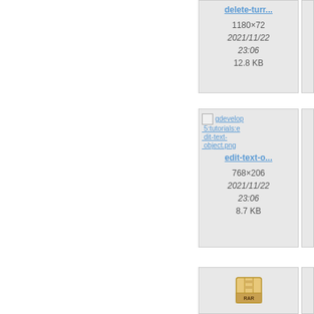[Figure (screenshot): File card for delete-turr... showing 1180×72, 2021/11/22 23:06, 12.8 KB]
[Figure (screenshot): File card for destro... showing 1160×..., 2021/..., 23:..., 26.x KB (partially visible)]
[Figure (screenshot): File card for edit-text-object.png (gdevelop5:tutorials) showing 768×206, 2021/11/22 23:06, 8.7 KB]
[Figure (screenshot): File card for empty...mpty_edi... (gdevelop5:tutorials) showing 885×..., 2021/..., 23:..., 42 KB (partially visible)]
[Figure (screenshot): File card for endless.ru... showing RAR archive icon]
[Figure (screenshot): File card for endl... showing game screenshot with sky and terrain (partially visible)]